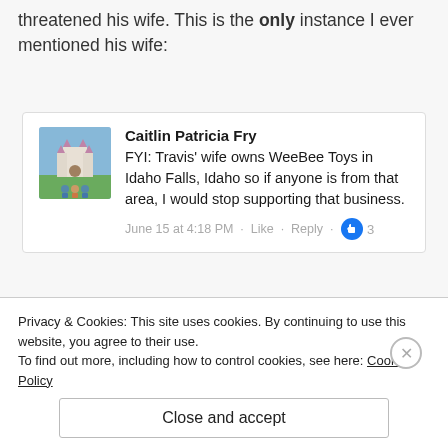threatened his wife. This is the only instance I ever mentioned his wife:
[Figure (screenshot): Facebook comment by Caitlin Patricia Fry with a profile photo (Disney castle scene). Comment reads: FYI: Travis' wife owns WeeBee Toys in Idaho Falls, Idaho so if anyone is from that area, I would stop supporting that business. June 15 at 4:18 PM · Like · Reply · thumbs up 3]
Why did I bring this up? Other individuals were asking what other companies JW Capital invested in
Privacy & Cookies: This site uses cookies. By continuing to use this website, you agree to their use.
To find out more, including how to control cookies, see here: Cookie Policy
Close and accept